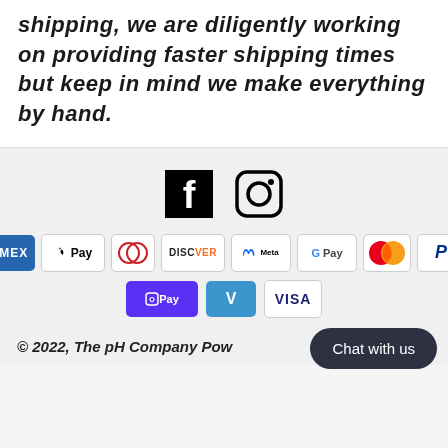shipping, we are diligently working on providing faster shipping times but keep in mind we make everything by hand.
[Figure (infographic): Facebook and Instagram social media icons in black]
[Figure (infographic): Payment method icons: Amex, Apple Pay, Diners Club, Discover, Meta Pay, Google Pay, Mastercard, PayPal, Shop Pay, Venmo, Visa]
© 2022, The pH Company Pow... | Chat with us button